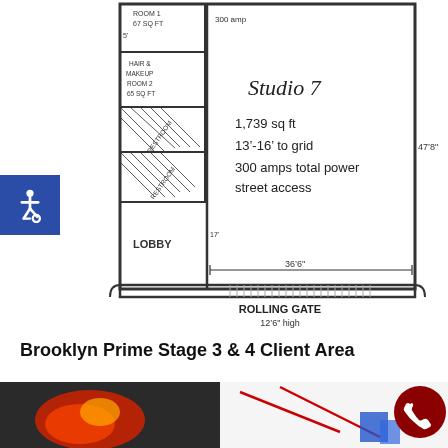[Figure (engineering-diagram): Floor plan of Studio 7 showing 1,739 sq ft space with 13'-16' to grid, 300 amps total power, street access, lobby, hair & makeup rooms, restrooms, rolling gate (12'6" high, 14'10" wide), dimensions 47'8" x 36'6", accessibility symbol on left side.]
Brooklyn Prime Stage 3 & 4 Client Area
[Figure (photo): Photo of a client area showing artwork on wall on left side and a white gallery-style room with red lines and a blue element on the right side. Red phone call button overlaid bottom right.]